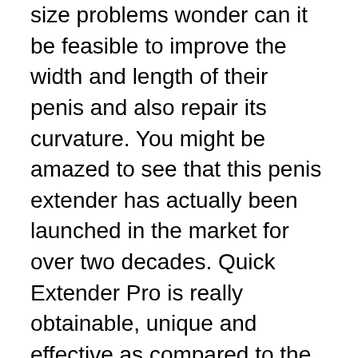size problems wonder can it be feasible to improve the width and length of their penis and also repair its curvature. You might be amazed to see that this penis extender has actually been launched in the market for over two decades. Quick Extender Pro is really obtainable, unique and effective as compared to the other methods and methodologies for penis enlargement on the marketplace.
What's special about Quick Extender Pro? The key features of Quick Extender Pro are; its innovative DSS (Dual strap assistance) system which includes 2 loopholes to link the extender to the penis and the pads which are particularly created to add convenience. The two assistance factors give adequate